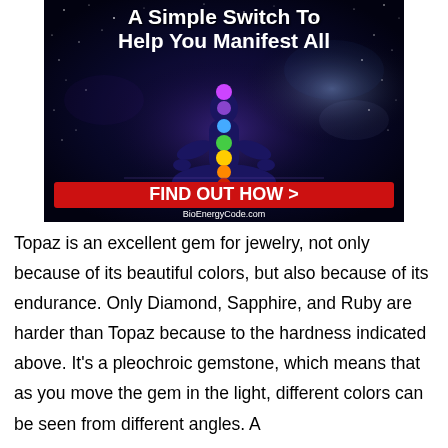[Figure (illustration): Advertisement image showing a meditating silhouette with 7 chakra circles in a cosmic/galaxy background. Text reads 'A Simple Switch To Help You Manifest All' with a red button 'FIND OUT HOW >' and URL 'BioEnergyCode.com']
Topaz is an excellent gem for jewelry, not only because of its beautiful colors, but also because of its endurance. Only Diamond, Sapphire, and Ruby are harder than Topaz because to the hardness indicated above. It's a pleochroic gemstone, which means that as you move the gem in the light, different colors can be seen from different angles. A